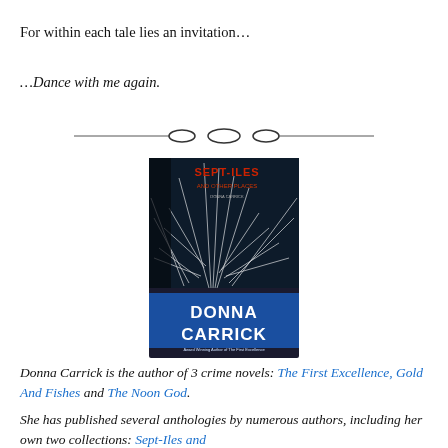For within each tale lies an invitation…
…Dance with me again.
[Figure (illustration): Decorative horizontal divider with three oval/ellipse shapes in the center connected by thin lines]
[Figure (photo): Book cover of 'Sept-Iles and Other Places' by Donna Carrick, showing a winter scene with dark background and white plant/frost details, blue banner at bottom with author name]
Donna Carrick is the author of 3 crime novels: The First Excellence, Gold And Fishes and The Noon God.
She has published several anthologies by numerous authors, including her own two collections: Sept-Iles and